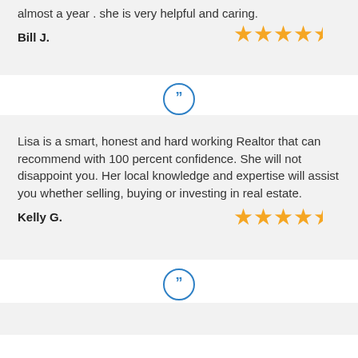almost a year . she is very helpful and caring.
Bill J.
[Figure (other): 5 gold stars rating]
[Figure (other): Blue quotation mark circle icon]
Lisa is a smart, honest and hard working Realtor that can recommend with 100 percent confidence. She will not disappoint you. Her local knowledge and expertise will assist you whether selling, buying or investing in real estate.
Kelly G.
[Figure (other): 5 gold stars rating]
[Figure (other): Blue quotation mark circle icon]